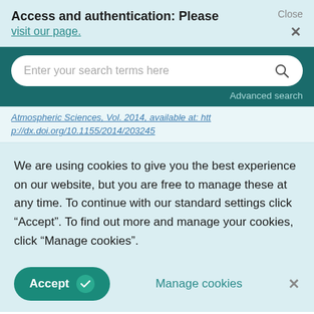Access and authentication: Please visit our page.
[Figure (screenshot): Search bar with placeholder text 'Enter your search terms here' and a search icon, on a dark teal background with 'Advanced search' link]
Atmospheric Sciences, Vol. 2014, available at: http://dx.doi.org/10.1155/2014/203245
We are using cookies to give you the best experience on our website, but you are free to manage these at any time. To continue with our standard settings click "Accept". To find out more and manage your cookies, click "Manage cookies".
Accept   Manage cookies
Ochieng, J. Kirimi, J. and Mathenge, M. (2016)